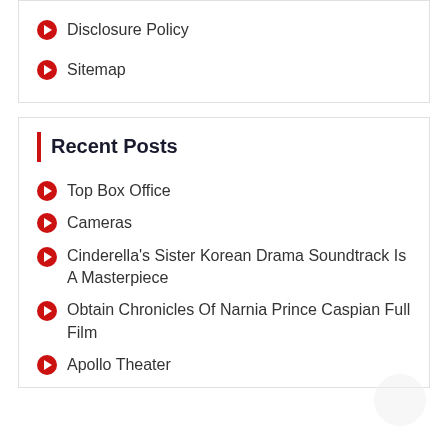Disclosure Policy
Sitemap
Recent Posts
Top Box Office
Cameras
Cinderella's Sister Korean Drama Soundtrack Is A Masterpiece
Obtain Chronicles Of Narnia Prince Caspian Full Film
Apollo Theater